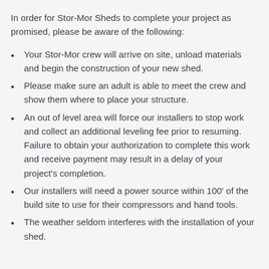In order for Stor-Mor Sheds to complete your project as promised, please be aware of the following:
Your Stor-Mor crew will arrive on site, unload materials and begin the construction of your new shed.
Please make sure an adult is able to meet the crew and show them where to place your structure.
An out of level area will force our installers to stop work and collect an additional leveling fee prior to resuming. Failure to obtain your authorization to complete this work and receive payment may result in a delay of your project's completion.
Our installers will need a power source within 100' of the build site to use for their compressors and hand tools.
The weather seldom interferes with the installation of your shed.